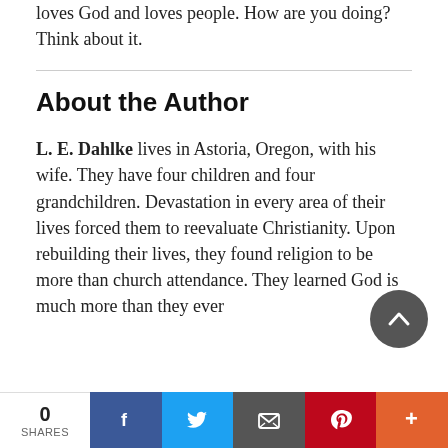loves God and loves people. How are you doing? Think about it.
About the Author
L. E. Dahlke lives in Astoria, Oregon, with his wife. They have four children and four grandchildren. Devastation in every area of their lives forced them to reevaluate Christianity. Upon rebuilding their lives, they found religion to be more than church attendance. They learned God is much more than they ever
0 SHARES | Facebook | Twitter | Email | Pinterest | More